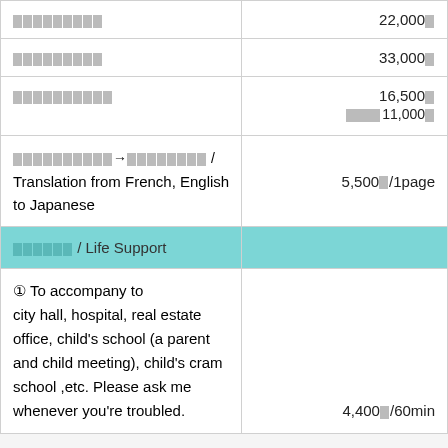| Service | Price |
| --- | --- |
| 〓〓〓〓〓〓〓〓〓 | 22,000〓 |
| 〓〓〓〓〓〓〓〓〓 (link) | 33,000〓 |
| 〓〓〓〓〓〓〓〓〓〓 (link) | 16,500〓 / 〓〓〓〓〓11,000〓 |
| 〓〓〓〓〓〓〓〓〓〓→〓〓〓〓〓〓〓〓 / Translation from French, English to Japanese | 5,500〓/1page |
| 〓〓〓〓〓〓 / Life Support |  |
| ① To accompany to city hall, hospital, real estate office, child's school (a parent and child meeting), child's cram school ,etc. Please ask me whenever you're troubled. | 4,400〓/60min |